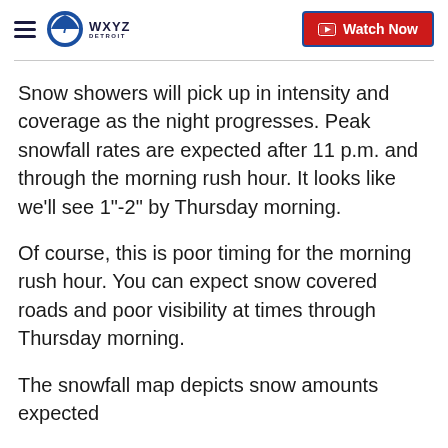WXYZ Detroit — Watch Now
Snow showers will pick up in intensity and coverage as the night progresses. Peak snowfall rates are expected after 11 p.m. and through the morning rush hour. It looks like we'll see 1"-2" by Thursday morning.
Of course, this is poor timing for the morning rush hour. You can expect snow covered roads and poor visibility at times through Thursday morning.
The snowfall map depicts snow amounts expected